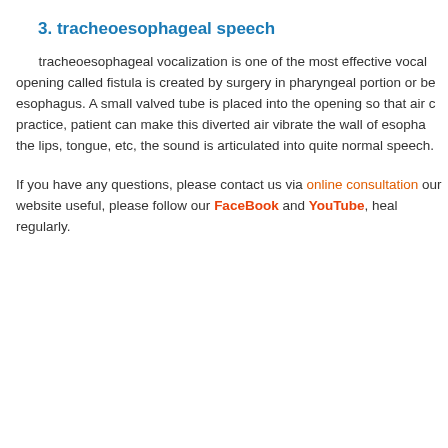3. tracheoesophageal speech
tracheoesophageal vocalization is one of the most effective vocal opening called fistula is created by surgery in pharyngeal portion or be esophagus. A small valved tube is placed into the opening so that air c practice, patient can make this diverted air vibrate the wall of esopha the lips, tongue, etc, the sound is articulated into quite normal speech.
If you have any questions, please contact us via online consultation our website useful, please follow our FaceBook and YouTube, heal regularly.